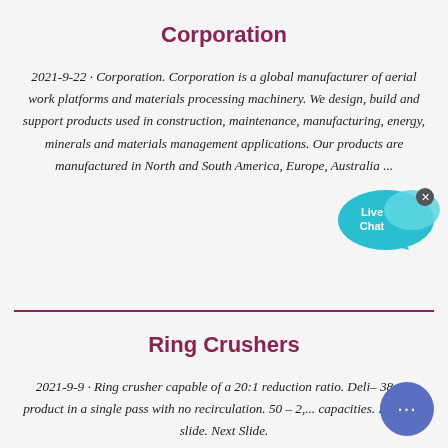Corporation
2021-9-22 · Corporation. Corporation is a global manufacturer of aerial work platforms and materials processing machinery. We design, build and support products used in construction, maintenance, manufacturing, energy, minerals and materials management applications. Our products are manufactured in North and South America, Europe, Australia ...
Ring Crushers
2021-9-9 · Ring crusher capable of a 20:1 reduction ratio. Delivers – 38mm product in a single pass with no recirculation. 50 – 2,... capacities. Previous slide. Next Slide.